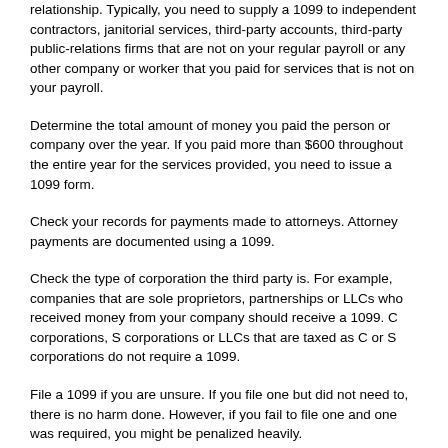relationship. Typically, you need to supply a 1099 to independent contractors, janitorial services, third-party accounts, third-party public-relations firms that are not on your regular payroll or any other company or worker that you paid for services that is not on your payroll.
Determine the total amount of money you paid the person or company over the year. If you paid more than $600 throughout the entire year for the services provided, you need to issue a 1099 form.
Check your records for payments made to attorneys. Attorney payments are documented using a 1099.
Check the type of corporation the third party is. For example, companies that are sole proprietors, partnerships or LLCs who received money from your company should receive a 1099. C corporations, S corporations or LLCs that are taxed as C or S corporations do not require a 1099.
File a 1099 if you are unsure. If you file one but did not need to, there is no harm done. However, if you fail to file one and one was required, you might be penalized heavily.